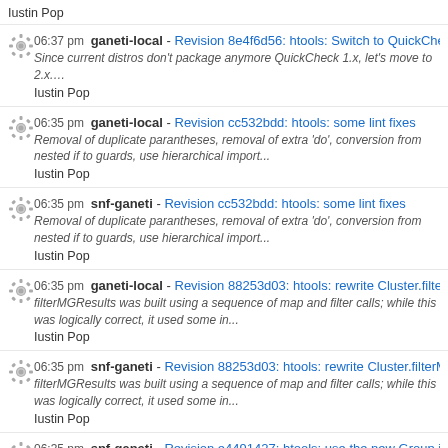Iustin Pop
06:37 pm ganeti-local - Revision 8e4f6d56: htools: Switch to QuickCheck 2
Since current distros don't package anymore QuickCheck 1.x, let's move to 2.x.
This requires also a few changes to t...
Iustin Pop
06:35 pm ganeti-local - Revision cc532bdd: htools: some lint fixes
Removal of duplicate parantheses, removal of extra 'do', conversion from nested if to guards, use hierarchical import...
Iustin Pop
06:35 pm snf-ganeti - Revision cc532bdd: htools: some lint fixes
Removal of duplicate parantheses, removal of extra 'do', conversion from nested if to guards, use hierarchical import...
Iustin Pop
06:35 pm ganeti-local - Revision 88253d03: htools: rewrite Cluster.filterMG
filterMGResults was built using a sequence of map and filter calls; while this was logically correct, it used some in...
Iustin Pop
06:35 pm snf-ganeti - Revision 88253d03: htools: rewrite Cluster.filterMGR
filterMGResults was built using a sequence of map and filter calls; while this was logically correct, it used some in...
Iustin Pop
06:35 pm snf-ganeti - Revision e4491427: htools: use the new Group.isAll
... instead of the hardcoded test against AllocUnallocable.
Signed-off-by: Iustin Pop <iustin@google.com>
Reviewed-by:...
Iustin Pop
ganeti-local - Revision e4491427: htools: use the new Group...